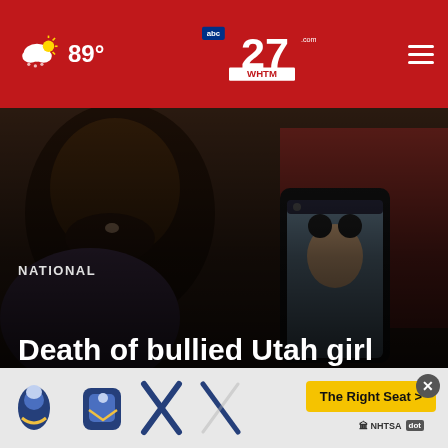89° | abc27 WHTM | Navigation menu
[Figure (photo): Person holding a phone displaying a photo of a young girl. News website header screenshot.]
NATIONAL
Death of bullied Utah girl draws anger over suicide rac...
[Figure (infographic): NHTSA car seat safety advertisement banner with The Right Seat > call to action button and child safety seat icons.]